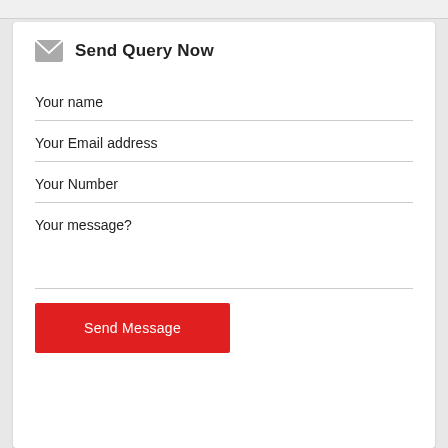Send Query Now
Your name
Your Email address
Your Number
Your message?
Send Message